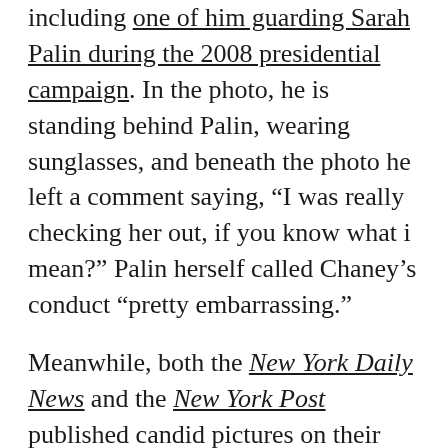including one of him guarding Sarah Palin during the 2008 presidential campaign. In the photo, he is standing behind Palin, wearing sunglasses, and beneath the photo he left a comment saying, “I was really checking her out, if you know what i mean?” Palin herself called Chaney’s conduct “pretty embarrassing.”
Meanwhile, both the New York Daily News and the New York Post published candid pictures on their front pages of the escort allegedly at the center of the scandal, though it’s not clear who got them first or how they were obtained. The 24-year-old is reportedly the same woman interviewed by The New York Times earlier this week about her encounter with the agents, but was unidentified in